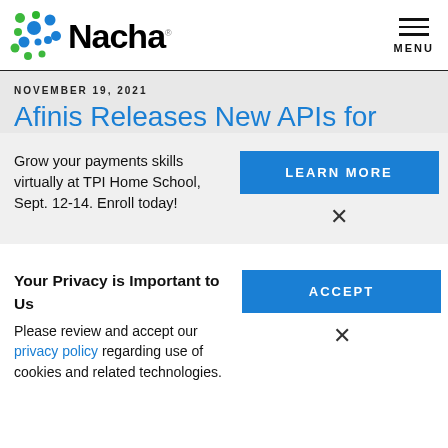Nacha
NOVEMBER 19, 2021
Afinis Releases New APIs for
Grow your payments skills virtually at TPI Home School, Sept. 12-14. Enroll today!
LEARN MORE
Your Privacy is Important to Us
Please review and accept our privacy policy regarding use of cookies and related technologies.
ACCEPT